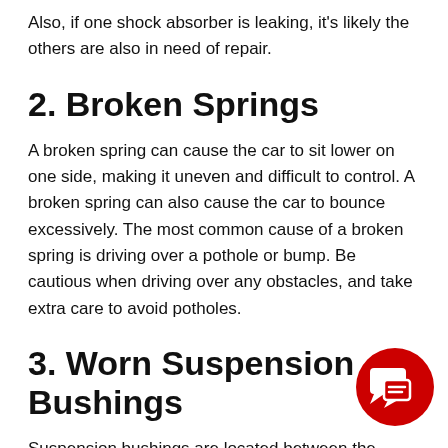Also, if one shock absorber is leaking, it's likely the others are also in need of repair.
2. Broken Springs
A broken spring can cause the car to sit lower on one side, making it uneven and difficult to control. A broken spring can also cause the car to bounce excessively. The most common cause of a broken spring is driving over a pothole or bump. Be cautious when driving over any obstacles, and take extra care to avoid potholes.
3. Worn Suspension Bushings
Suspension bushings are located between the suspension components and the car's frame. They act as a cushion, absorbing impact and reducing vibration.
[Figure (illustration): Red circular chat/support icon with speech bubble symbols in white, positioned in the lower right area overlapping the text.]